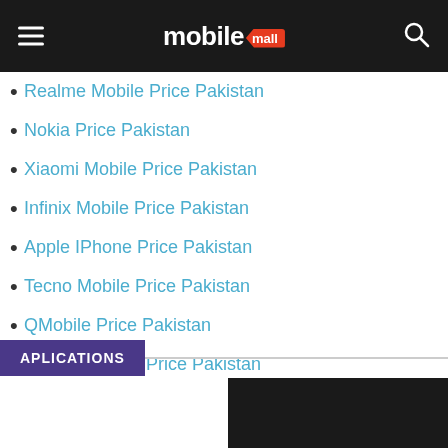mobile mall
Realme Mobile Price Pakistan
Nokia Price Pakistan
Xiaomi Mobile Price Pakistan
Infinix Mobile Price Pakistan
Apple IPhone Price Pakistan
Tecno Mobile Price Pakistan
QMobile Price Pakistan
Lenovo Mobile Price Pakistan
APLICATIONS